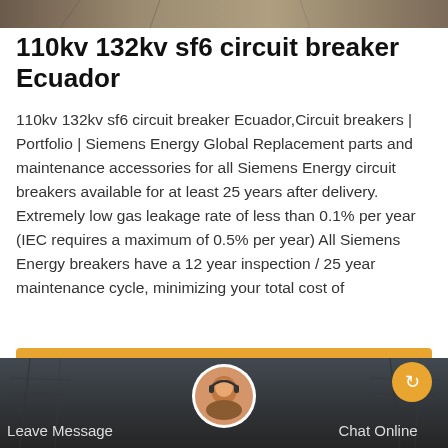[Figure (photo): Top banner image showing electrical infrastructure/power lines with muted earth tones]
110kv 132kv sf6 circuit breaker Ecuador
110kv 132kv sf6 circuit breaker Ecuador,Circuit breakers | Portfolio | Siemens Energy Global Replacement parts and maintenance accessories for all Siemens Energy circuit breakers available for at least 25 years after delivery. Extremely low gas leakage rate of less than 0.1% per year (IEC requires a maximum of 0.5% per year) All Siemens Energy breakers have a 12 year inspection / 25 year maintenance cycle, minimizing your total cost of
[Figure (other): Orange 'Get Price' button]
[Figure (photo): Bottom footer bar with dark overlay showing power lines background, customer service avatar in center, Leave Message and Chat Online links, and back-to-top orange button]